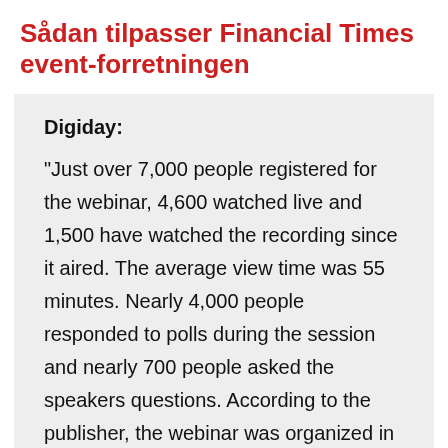Sådan tilpasser Financial Times event-forretningen
Digiday: "Just over 7,000 people registered for the webinar, 4,600 watched live and 1,500 have watched the recording since it aired. The average view time was 55 minutes. Nearly 4,000 people responded to polls during the session and nearly 700 people asked the speakers questions. According to the publisher, the webinar was organized in six days."